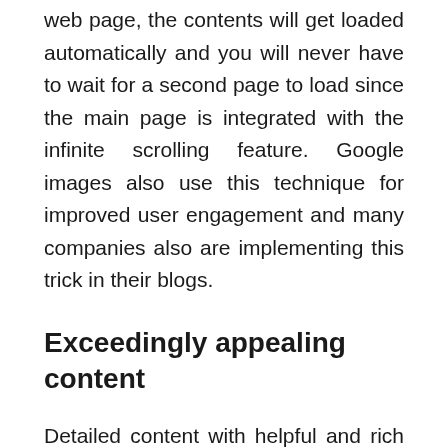web page, the contents will get loaded automatically and you will never have to wait for a second page to load since the main page is integrated with the infinite scrolling feature. Google images also use this technique for improved user engagement and many companies also are implementing this trick in their blogs.
Exceedingly appealing content
Detailed content with helpful and rich information to maintain the user's interest for a longer period is not good for infinite scrolling trend. If your aim is to offer the users with an engaging content to share and post, then providing them with comprehensive information might seem to be awe-inspiring